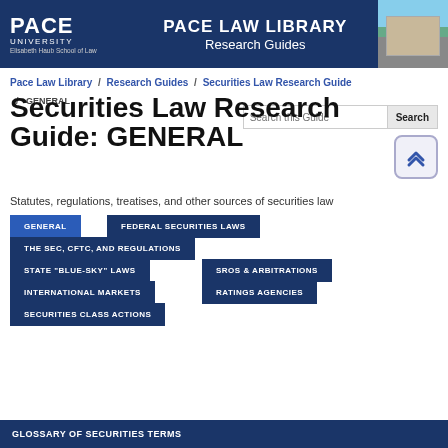[Figure (screenshot): Pace Law Library Research Guides banner with Pace University logo on left, title in center, and building photo on right]
Pace Law Library / Research Guides / Securities Law Research Guide / GENERAL
Securities Law Research Guide: GENERAL
Statutes, regulations, treatises, and other sources of securities law
GENERAL
FEDERAL SECURITIES LAWS
THE SEC, CFTC, and REGULATIONS
STATE "BLUE-SKY" LAWS
SROs & ARBITRATIONS
INTERNATIONAL MARKETS
RATINGS AGENCIES
SECURITIES CLASS ACTIONS
GLOSSARY OF SECURITIES TERMS